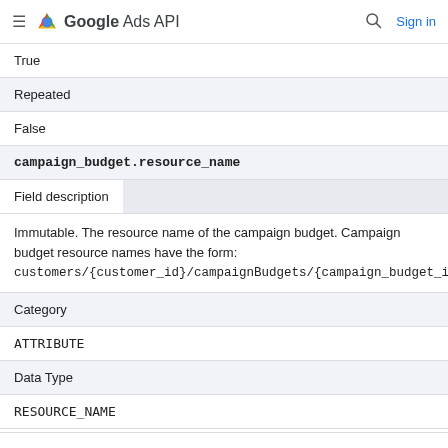Google Ads API
True
| Repeated |
| False |
| campaign_budget.resource_name |
| Field description |  |
| Immutable. The resource name of the campaign budget. Campaign budget resource names have the form: customers/{customer_id}/campaignBudgets/{campaign_budget_id} |
| Category |
| ATTRIBUTE |
| Data Type |
| RESOURCE_NAME |